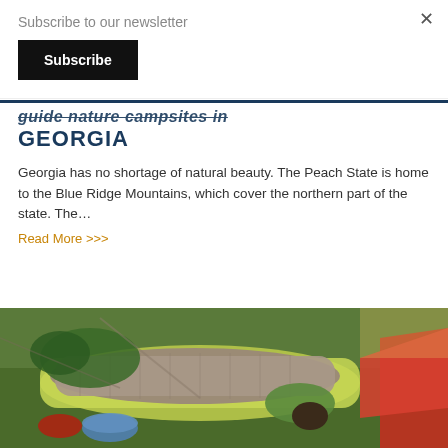Subscribe to our newsletter
Subscribe
×
GEORGIA
Georgia has no shortage of natural beauty. The Peach State is home to the Blue Ridge Mountains, which cover the northern part of the state. The…
Read More >>>
[Figure (photo): Person in a sleeping bag on a sleeping pad outdoors on grass, with a red tent and camping gear nearby, viewed from above.]